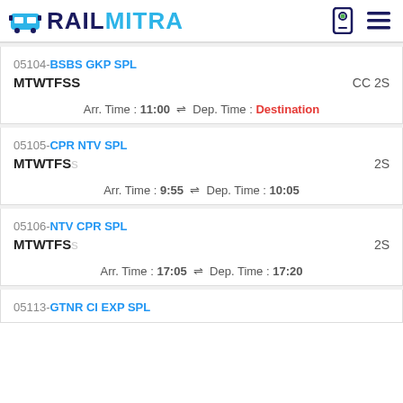RAILMITRA
05104-BSBS GKP SPL
MTWTFSS
CC 2S
Arr. Time : 11:00 ⇌ Dep. Time : Destination
05105-CPR NTV SPL
MTWTFSS
2S
Arr. Time : 9:55 ⇌ Dep. Time : 10:05
05106-NTV CPR SPL
MTWTFSS
2S
Arr. Time : 17:05 ⇌ Dep. Time : 17:20
05113-GTNR CI EXP SPL